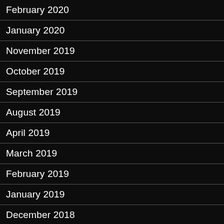February 2020
January 2020
November 2019
October 2019
September 2019
August 2019
April 2019
March 2019
February 2019
January 2019
December 2018
November 2018
October 2018